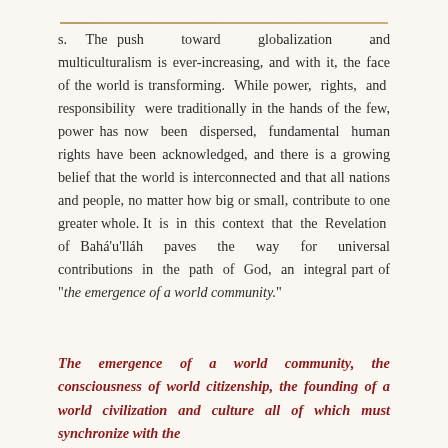s. The push toward globalization and multiculturalism is ever-increasing, and with it, the face of the world is transforming. While power, rights, and responsibility were traditionally in the hands of the few, power has now been dispersed, fundamental human rights have been acknowledged, and there is a growing belief that the world is interconnected and that all nations and people, no matter how big or small, contribute to one greater whole. It is in this context that the Revelation of Bahá'u'lláh paves the way for universal contributions in the path of God, an integral part of "the emergence of a world community."
The emergence of a world community, the consciousness of world citizenship, the founding of a world civilization and culture all of which must synchronize with the